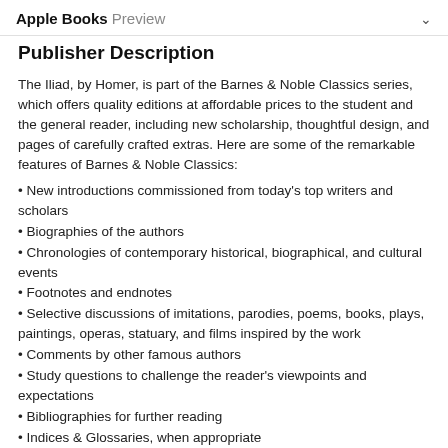Apple Books Preview
Publisher Description
The Iliad, by Homer, is part of the Barnes & Noble Classics series, which offers quality editions at affordable prices to the student and the general reader, including new scholarship, thoughtful design, and pages of carefully crafted extras. Here are some of the remarkable features of Barnes & Noble Classics:
New introductions commissioned from today's top writers and scholars
Biographies of the authors
Chronologies of contemporary historical, biographical, and cultural events
Footnotes and endnotes
Selective discussions of imitations, parodies, poems, books, plays, paintings, operas, statuary, and films inspired by the work
Comments by other famous authors
Study questions to challenge the reader's viewpoints and expectations
Bibliographies for further reading
Indices & Glossaries, when appropriate
All editions are beautifully designed and are printed to superior